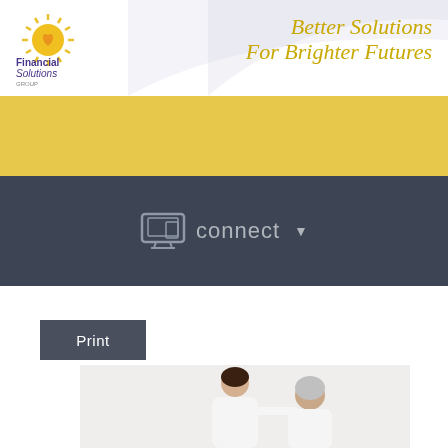[Figure (logo): Financial Solutions Group logo: yellow sun with rays above company name in purple text]
Better Solutions For Brighter Futures
Menu ☰
connect ▼
Print
[Figure (photo): A nurse or caregiver in white uniform smiling and assisting an elderly woman, both against a light background]